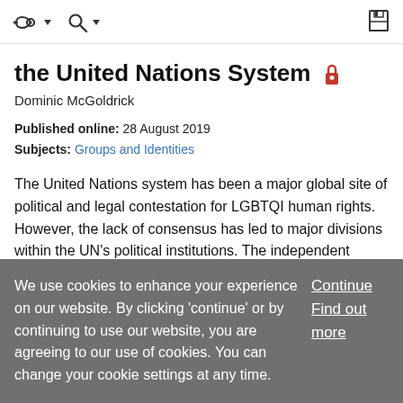toolbar icons: back arrow with dropdown, search with dropdown, save/disk icon
the United Nations System 🔒
Dominic McGoldrick
Published online: 28 August 2019
Subjects: Groups and Identities
The United Nations system has been a major global site of political and legal contestation for LGBTQI human rights. However, the lack of consensus has led to major divisions within the UN's political institutions. The independent human rights institutions that do exist within the UN
We use cookies to enhance your experience on our website. By clicking 'continue' or by continuing to use our website, you are agreeing to our use of cookies. You can change your cookie settings at any time.
Continue
Find out more